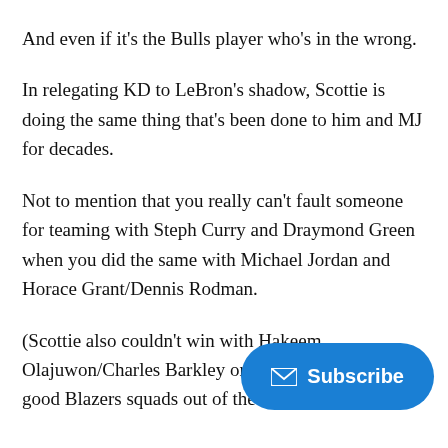And even if it's the Bulls player who's in the wrong.
In relegating KD to LeBron's shadow, Scottie is doing the same thing that's been done to him and MJ for decades.
Not to mention that you really can't fault someone for teaming with Steph Curry and Draymond Green when you did the same with Michael Jordan and Horace Grant/Dennis Rodman.
(Scottie also couldn't win with Hakeem Olajuwon/Charles Barkley or lift a couple of those good Blazers squads out of the Western C…
Still, if Scottie's media tour is just beginning, imagine